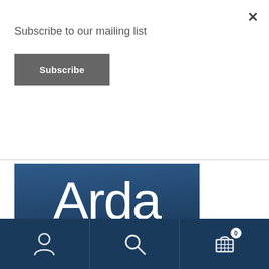Subscribe to our mailing list
Subscribe
[Figure (illustration): Arda condensed sans font promotional image on dark blue gradient background. Large thin 'Arda' text, below: 'condensed sans', '10 weights from Thin to ExtraBlack', 'Latin • Кириллица • Кирилица']
Navigation bar with user icon, search icon, and cart icon with badge showing 0